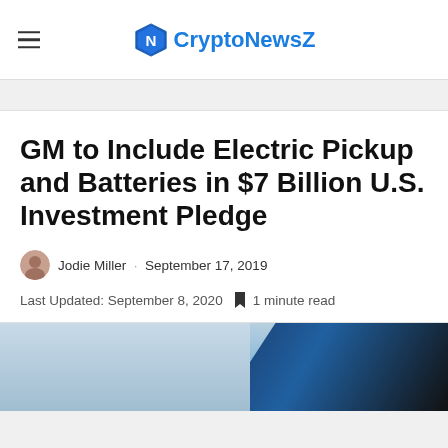CryptoNewsZ
GM to Include Electric Pickup and Batteries in $7 Billion U.S. Investment Pledge
Jodie Miller · September 17, 2019
Last Updated: September 8, 2020  🔖 1 minute read
[Figure (photo): Blue and dark colored abstract image, likely a GM or automotive related photo]